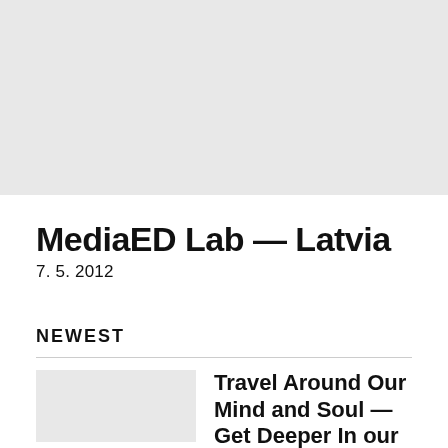[Figure (photo): Light gray image placeholder at top of page]
MediaED Lab — Latvia
7. 5. 2012
NEWEST
[Figure (photo): Small gray thumbnail image placeholder]
Travel Around Our Mind and Soul — Get Deeper In our